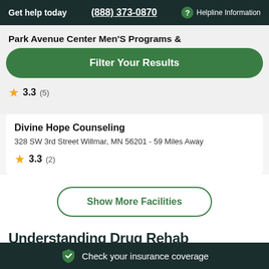Get help today   (888) 373-0870   ? Helpline Information
Park Avenue Center Men'S Programs &
Filter Your Results
★ 3.3 (5)
Divine Hope Counseling
328 SW 3rd Street Willmar, MN 56201 - 59 Miles Away
★ 3.3 (2)
Show More Facilities
Check your insurance coverage